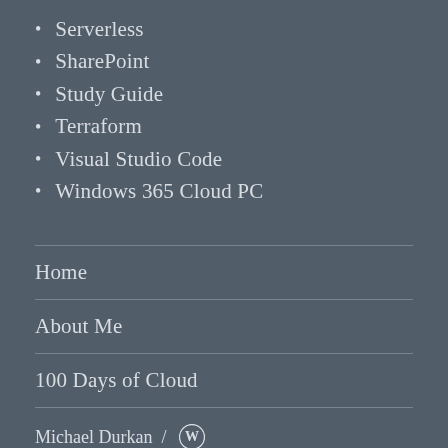Serverless
SharePoint
Study Guide
Terraform
Visual Studio Code
Windows 365 Cloud PC
Home
About Me
100 Days of Cloud
Michael Durkan / (WordPress logo)